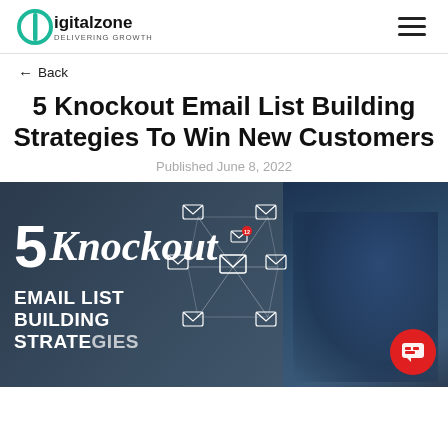digitalzone DELIVERING GROWTH
← Back
5 Knockout Email List Building Strategies To Win New Customers
Published June 8, 2022
[Figure (infographic): Dark background infographic image showing '5 Knockout EMAIL LIST BUILDING STRATEGIES' text with email envelope icons connected by network lines, and a person holding a tablet on the right side. A red chat button is in the bottom right corner.]